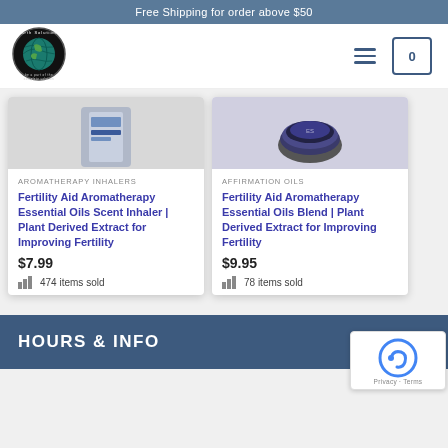Free Shipping for order above $50
[Figure (logo): Earth Solutions circular logo with globe graphic and text 'be a part of the complete solution']
AROMATHERAPY INHALERS
Fertility Aid Aromatherapy Essential Oils Scent Inhaler | Plant Derived Extract for Improving Fertility
$7.99
474 items sold
AFFIRMATION OILS
Fertility Aid Aromatherapy Essential Oils Blend | Plant Derived Extract for Improving Fertility
$9.95
78 items sold
HOURS & INFO